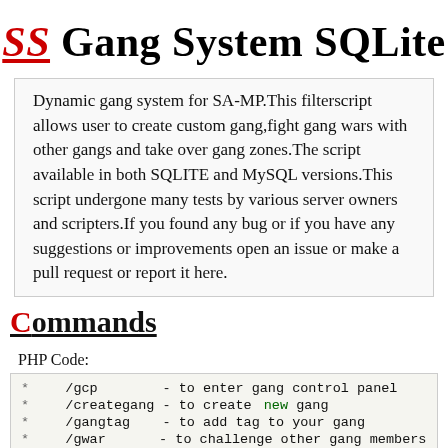SS Gang System SQLite
Dynamic gang system for SA-MP.This filterscript allows user to create custom gang,fight gang wars with other gangs and take over gang zones.The script available in both SQLITE and MySQL versions.This script undergone many tests by various server owners and scripters.If you found any bug or if you have any suggestions or improvements open an issue or make a pull request or report it here.
Commands
PHP Code:
*   /gcp        - to enter gang control panel
*   /creategang - to create new gang
*   /gangtag     - to add tag to your gang
*   /gwar        - to challenge other gang members